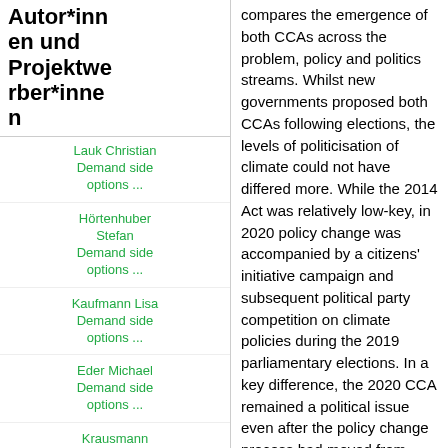Autor*innen und Projektwerber*innen
Lauk Christian
Demand side options ...
Hörtenhuber Stefan
Demand side options ...
Kaufmann Lisa
Demand side options ...
Eder Michael
Demand side options ...
Krausmann Fridolin
Demand side options ...
compares the emergence of both CCAs across the problem, policy and politics streams. Whilst new governments proposed both CCAs following elections, the levels of politicisation of climate could not have differed more. While the 2014 Act was relatively low-key, in 2020 policy change was accompanied by a citizens' initiative campaign and subsequent political party competition on climate policies during the 2019 parliamentary elections. In a key difference, the 2020 CCA remained a political issue even after the policy change process had moved from agenda setting to decision making, whereas political momentum ebbed earlier in 2014. We conclude that the high level of politicisation of climate issues in 2019-2020 contributed greatly to a substantive CCA, but that further improvements are necessary to meet increasingly demanding mitigation targets.
Autor*innen der BOKU Wien:
    Nash Sarah Louise
    Steurer Reinhard
BOKU Gendermonitor: